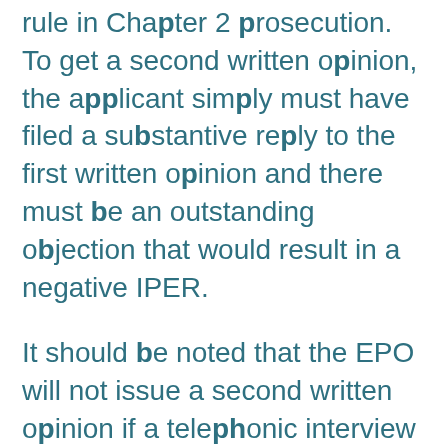rule in Chapter 2 prosecution. To get a second written opinion, the applicant simply must have filed a substantive reply to the first written opinion and there must be an outstanding objection that would result in a negative IPER.
It should be noted that the EPO will not issue a second written opinion if a telephonic interview has been granted to an applicant. The examiner has discretion whether or not to grant an interview. However, because the